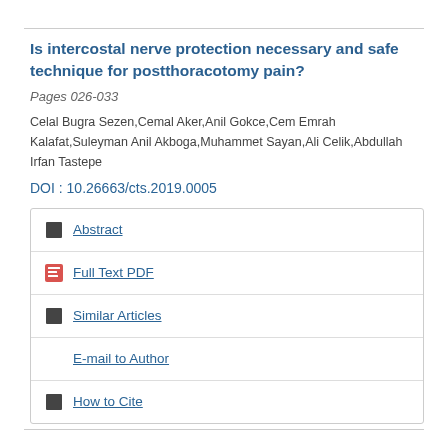Is intercostal nerve protection necessary and safe technique for postthoracotomy pain?
Pages 026-033
Celal Bugra Sezen,Cemal Aker,Anil Gokce,Cem Emrah Kalafat,Suleyman Anil Akboga,Muhammet Sayan,Ali Celik,Abdullah Irfan Tastepe
DOI : 10.26663/cts.2019.0005
Abstract
Full Text PDF
Similar Articles
E-mail to Author
How to Cite